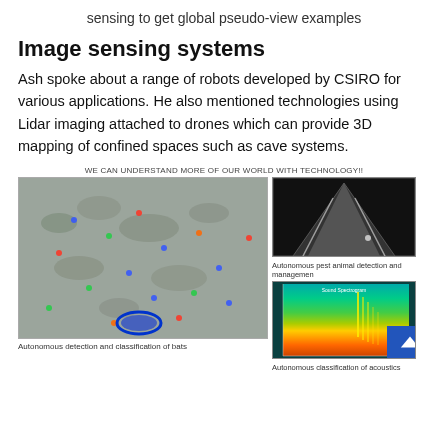sensing to get global pseudo-view examples
Image sensing systems
Ash spoke about a range of robots developed by CSIRO for various applications. He also mentioned technologies using Lidar imaging attached to drones which can provide 3D mapping of confined spaces such as cave systems.
[Figure (photo): Composite image panel with title 'WE CAN UNDERSTAND MORE OF OUR WORLD WITH TECHNOLOGY!!'. Left: aerial Lidar/multispectral image showing detection and classification of bats with colored markers and a blue oval highlight. Top right: black and white night-vision camera image showing a road tunnel/corridor (autonomous pest animal detection and management). Bottom right: spectrogram chart showing acoustic classification (Autonomous classification of acoustics). A blue navigation button is visible at bottom right corner.]
Autonomous detection and classification of bats
Autonomous pest animal detection and managemen
Autonomous classification of acoustics